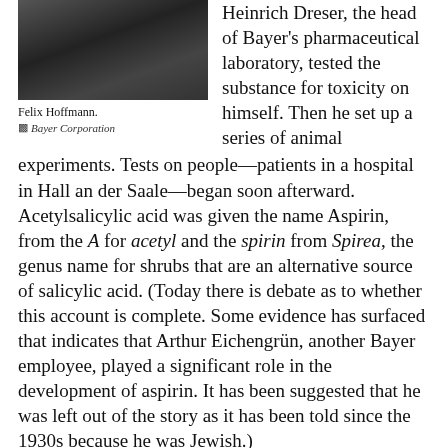[Figure (photo): Black and white portrait photograph of Felix Hoffmann]
Felix Hoffmann.
▩ Bayer Corporation
Heinrich Dreser, the head of Bayer’s pharmaceutical laboratory, tested the substance for toxicity on himself. Then he set up a series of animal experiments. Tests on people—patients in a hospital in Hall an der Saale—began soon afterward. Acetylsalicylic acid was given the name Aspirin, from the A for acetyl and the spirin from Spirea, the genus name for shrubs that are an alternative source of salicylic acid. (Today there is debate as to whether this account is complete. Some evidence has surfaced that indicates that Arthur Eichengrün, another Bayer employee, played a significant role in the development of aspirin. It has been suggested that he was left out of the story as it has been told since the 1930s because he was Jewish.)
Bayer applied for a German patent but was rejected: as it